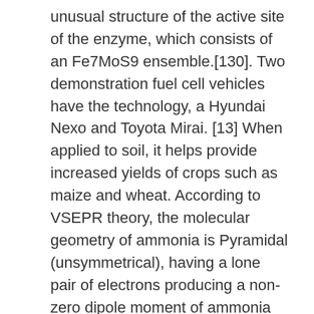unusual structure of the active site of the enzyme, which consists of an Fe7MoS9 ensemble.[130]. Two demonstration fuel cell vehicles have the technology, a Hyundai Nexo and Toyota Mirai. [13] When applied to soil, it helps provide increased yields of crops such as maize and wheat. According to VSEPR theory, the molecular geometry of ammonia is Pyramidal (unsymmetrical), having a lone pair of electrons producing a non-zero dipole moment of ammonia (μ = 0) (\mu=0) (μ = 0) Thus, the shape of ammonia molecule is Pyramidal having three N-H bond and a lone pair. In the US as of 2019, approximately 88% of ammonia was used as fertilizers either as its salts, solutions or anhydrously. As early as in 1895, it was known that ammonia was "strongly antiseptic ... it requires 1.4 grams per litre to preserve beef tea. The gas is flammable (autoignition temperature: